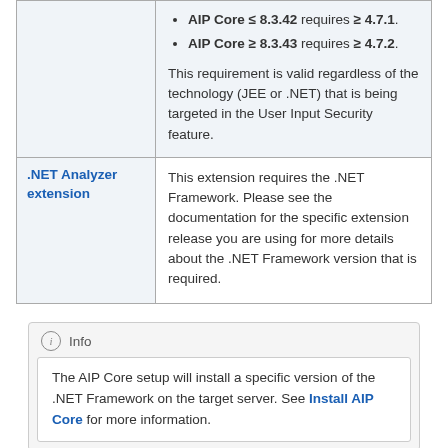| Extension | Requirement |
| --- | --- |
| (continuation) | • AIP Core ≤ 8.3.42 requires ≥ 4.7.1.
• AIP Core ≥ 8.3.43 requires ≥ 4.7.2.

This requirement is valid regardless of the technology (JEE or .NET) that is being targeted in the User Input Security feature. |
| .NET Analyzer extension | This extension requires the .NET Framework. Please see the documentation for the specific extension release you are using for more details about the .NET Framework version that is required. |
Info
The AIP Core setup will install a specific version of the .NET Framework on the target server. See Install AIP Core for more information.